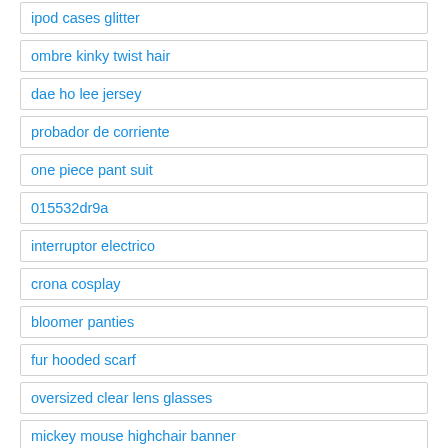ipod cases glitter
ombre kinky twist hair
dae ho lee jersey
probador de corriente
one piece pant suit
015532dr9a
interruptor electrico
crona cosplay
bloomer panties
fur hooded scarf
oversized clear lens glasses
mickey mouse highchair banner